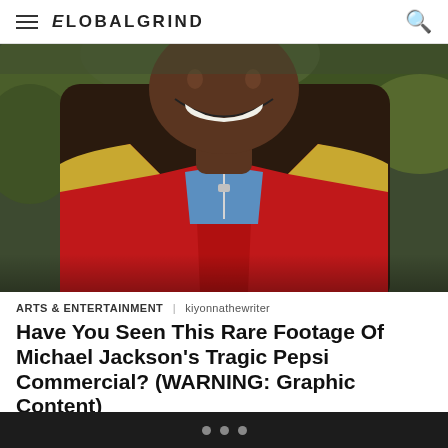GLOBALGRIND
[Figure (photo): Close-up photo of Michael Jackson smiling, wearing a red leather jacket with sparkly silver shoulders and a blue shirt underneath, with green foliage in the background]
ARTS & ENTERTAINMENT | kiyonnathewriter
Have You Seen This Rare Footage Of Michael Jackson's Tragic Pepsi Commercial? (WARNING: Graphic Content)
On this day in 1984, our beloved Michael Jackson suffered 2nd and 3rd degree burns on his scalp while filming a Pepsi commercial. The King of Pop nearly died from the incident, which ignited his
• • •